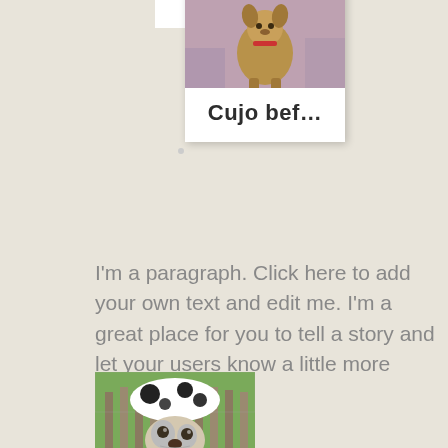[Figure (photo): Photo card showing a dog (Cujo) sitting, with a white card overlay showing text 'Cujo bef...']
I'm a paragraph. Click here to add your own text and edit me. I'm a great place for you to tell a story and let your users know a little more about you.
[Figure (photo): Photo of a black and white spotted dog looking over a fence]